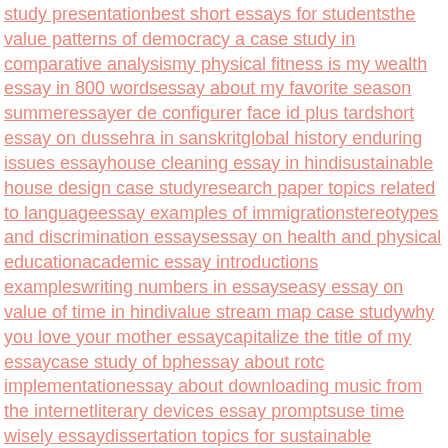study presentationbest short essays for studentsthe value patterns of democracy a case study in comparative analysismy physical fitness is my wealth essay in 800 wordsessay about my favorite season summeressayer de configurer face id plus tardshort essay on dussehra in sanskritglobal history enduring issues essayhouse cleaning essay in hindisustainable house design case studyresearch paper topics related to languageessay examples of immigrationstereotypes and discrimination essaysessay on health and physical educationacademic essay introductions exampleswriting numbers in essayseasy essay on value of time in hindivalue stream map case studywhy you love your mother essaycapitalize the title of my essaycase study of bphessay about rotc implementationessay about downloading music from the internetliterary devices essay promptsuse time wisely essaydissertation topics for sustainable architecturemicrosoft corporation 2013